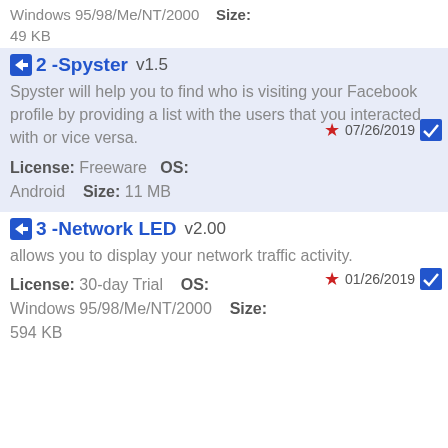Windows 95/98/Me/NT/2000    Size:
49 KB
2 - Spyster  v1.5
Spyster will help you to find who is visiting your Facebook profile by providing a list with the users that you interacted with or vice versa.
License: Freeware    OS: Android    Size: 11 MB
07/26/2019
3 - Network LED  v2.00
allows you to display your network traffic activity.
License: 30-day Trial    OS: Windows 95/98/Me/NT/2000    Size: 594 KB
01/26/2019